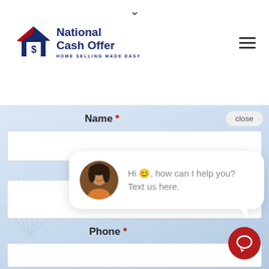[Figure (screenshot): National Cash Offer website header with logo and hamburger menu icon]
Name *
close
[Figure (illustration): Chat popup with avatar photo of a woman and text: Hi, how can I help you? Text us here.]
Phone *